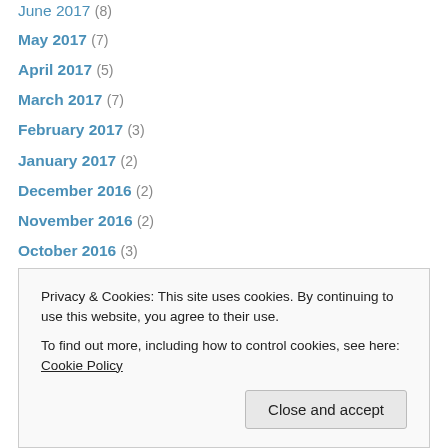June 2017 (8)
May 2017 (7)
April 2017 (5)
March 2017 (7)
February 2017 (3)
January 2017 (2)
December 2016 (2)
November 2016 (2)
October 2016 (3)
September 2016 (6)
August 2016 (2)
July 2016 (6)
June 2016 (7)
May 2016 (2)
Privacy & Cookies: This site uses cookies. By continuing to use this website, you agree to their use. To find out more, including how to control cookies, see here: Cookie Policy
Close and accept